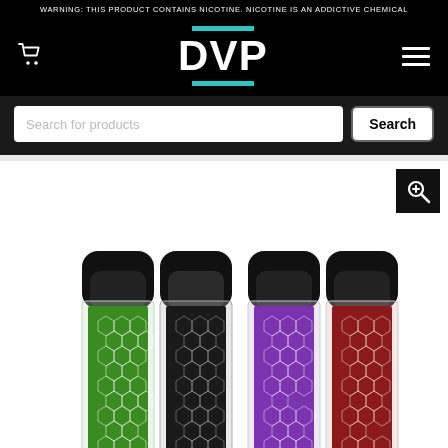WARNING: THIS PRODUCT CONTAINS NICOTINE. NICOTINE IS AN ADDICTIVE CHEMICAL
[Figure (logo): DVP logo with teal horizontal bars above and below the letters DVP on black background]
Search for products
[Figure (photo): Four vape pod devices with honeycomb/scale pattern bodies in green, black, purple, and red colors with black tops, displayed on white background]